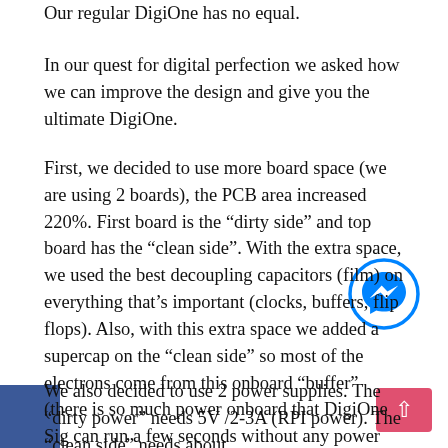Our regular DigiOne has no equal.
In our quest for digital perfection we asked how we can improve the design and give you the ultimate DigiOne.
First, we decided to use more board space (we are using 2 boards), the PCB area increased 220%. First board is the “dirty side” and top board has the “clean side”. With the extra space, we used the best decoupling capacitors (film) on everything that’s important (clocks, buffers, flip flops). Also, with this extra space we added a supercap on the “clean side” so most of the electrons come from this onboard “buffer” (there is so much power onboard that DigiOne Sig can run a few seconds without any power attached to the clean side).
We also decided to use 2 power supplies. The “dirty power” needs 5V /2-3A (RPI power). The “clean side” needs about 100mA and accepts from 5V to 6V. You can use this as it is